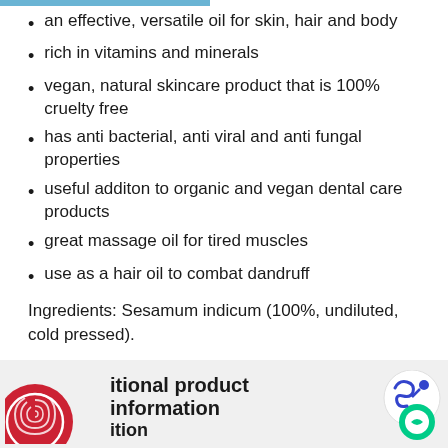an effective, versatile oil for skin, hair and body
rich in vitamins and minerals
vegan, natural skincare product that is 100% cruelty free
has anti bacterial, anti viral and anti fungal properties
useful additon to organic and vegan dental care products
great massage oil for tired muscles
use as a hair oil to combat dandruff
Ingredients: Sesamum indicum (100%, undiluted, cold pressed).
Net volume: 100 ml.
To Use: a versatile all round oil for body, skin and hair.
itional product information
ition